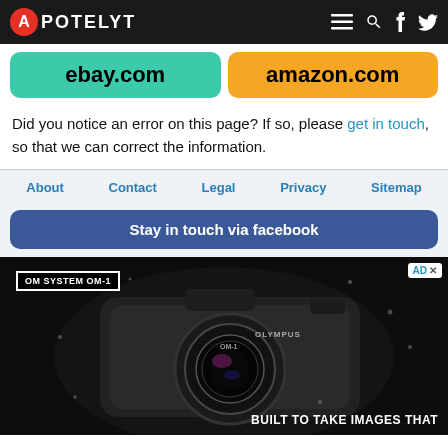APOTELYT
[Figure (other): ebay.com and amazon.com purchase buttons]
Did you notice an error on this page? If so, please get in touch, so that we can correct the information.
About  Contact  Legal  Privacy  Sitemap
Stay in touch via facebook
[Figure (photo): Olympus OM System OM-1 camera advertisement. Dark dramatic photo of camera with water droplets. Text: BUILT TO TAKE IMAGES THAT]